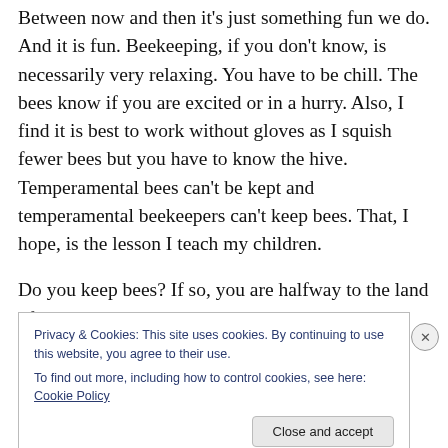Between now and then it's just something fun we do. And it is fun. Beekeeping, if you don't know, is necessarily very relaxing. You have to be chill. The bees know if you are excited or in a hurry. Also, I find it is best to work without gloves as I squish fewer bees but you have to know the hive. Temperamental bees can't be kept and temperamental beekeepers can't keep bees. That, I hope, is the lesson I teach my children.
Do you keep bees? If so, you are halfway to the land of milk and honey.
Privacy & Cookies: This site uses cookies. By continuing to use this website, you agree to their use.
To find out more, including how to control cookies, see here: Cookie Policy